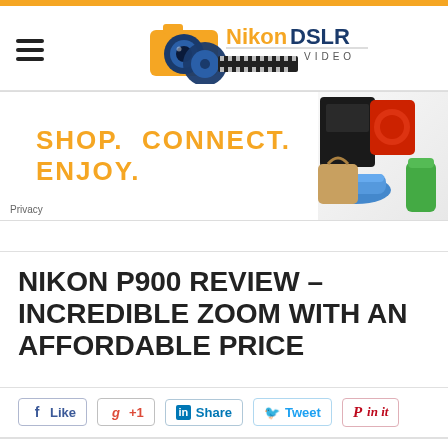[Figure (logo): NikonDSLR VIDEO logo with orange camera and film reel graphic, hamburger menu icon on left]
[Figure (infographic): Advertisement banner: SHOP. CONNECT. ENJOY. in orange text with product images on right (electronics, shoes, kitchen appliances). Privacy label at bottom left.]
NIKON P900 REVIEW – INCREDIBLE ZOOM WITH AN AFFORDABLE PRICE
[Figure (infographic): Social sharing buttons row: Like (Facebook), +1 (Google), Share (LinkedIn), Tweet (Twitter), Pin it (Pinterest)]